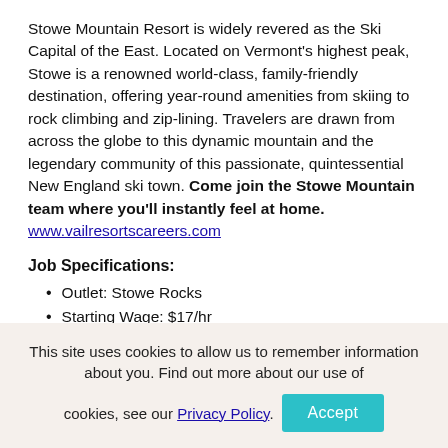Stowe Mountain Resort is widely revered as the Ski Capital of the East. Located on Vermont's highest peak, Stowe is a renowned world-class, family-friendly destination, offering year-round amenities from skiing to rock climbing and zip-lining. Travelers are drawn from across the globe to this dynamic mountain and the legendary community of this passionate, quintessential New England ski town. Come join the Stowe Mountain team where you'll instantly feel at home.
www.vailresortscareers.com
Job Specifications:
Outlet: Stowe Rocks
Starting Wage: $17/hr
Shift & Schedule Availability: Part Time
The Stowe Rocks Climbing Center is actively seeking Climbing Center Guides. Climbing Center Guides provide orientation and coaching to Stowe Rocks Climbing
This site uses cookies to allow us to remember information about you. Find out more about our use of cookies, see our Privacy Policy.